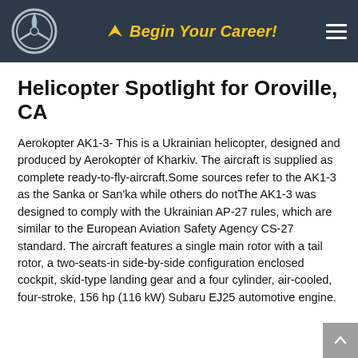Begin Your Career!
Helicopter Spotlight for Oroville, CA
Aerokopter AK1-3- This is a Ukrainian helicopter, designed and produced by Aerokopter of Kharkiv. The aircraft is supplied as complete ready-to-fly-aircraft.Some sources refer to the AK1-3 as the Sanka or San'ka while others do notThe AK1-3 was designed to comply with the Ukrainian AP-27 rules, which are similar to the European Aviation Safety Agency CS-27 standard. The aircraft features a single main rotor with a tail rotor, a two-seats-in side-by-side configuration enclosed cockpit, skid-type landing gear and a four cylinder, air-cooled, four-stroke, 156 hp (116 kW) Subaru EJ25 automotive engine.